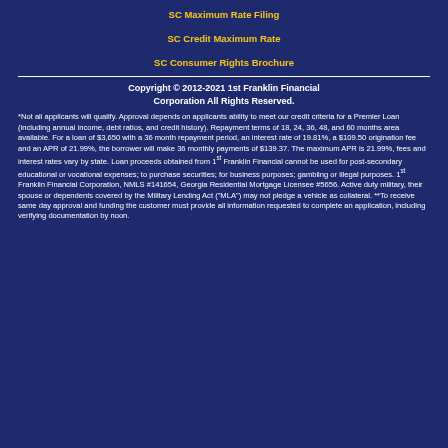SC Maximum Rate Filing
SC Credit Maximum Rate
SC Consumer Rights Brochure
Copyright © 2012-2021 1st Franklin Financial Corporation All Rights Reserved.
*Not all applicants will qualify. Approval depends on applicants ability to meet our credit criteria for a Premier Loan (including annual income, debt ratios, and credit history). Repayment terms of 18, 24, 36, 48, and 60 months area available. For a loan of $3,650 with a 36 month repayment period, an interest rate of 19.81%, a $109.50 origination fee and an APR of 21.99%, the borrower will make 36 monthly payments of $139.37. The maximum APR is 21.99%, fees and interest rates vary by state. Loan proceeds obtained from 1st Franklin Financial cannot be used for post-secondary educational or vocational expenses; to purchase securities; for business purposes; gambling or illegal purposes. 1st Franklin Financial Corporation, NMLS #141654, Georgia Residential Mortgage Licensee #5656. Active duty military, their spouse or dependents covered by the Military Lending Act ("MLA") may not pledge a vehicle as collateral. **To receive same day approval and funding the customer must provide all information requested to complete an application, including verifying documentation by noon.